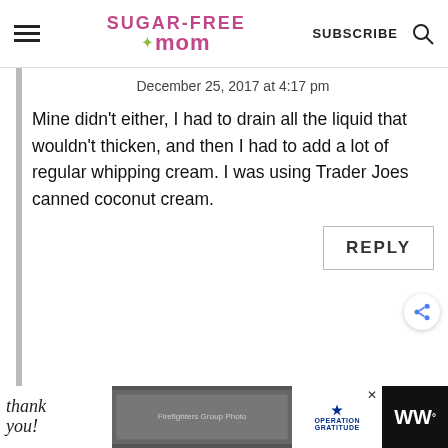Sugar-Free Mom — SUBSCRIBE
December 25, 2017 at 4:17 pm
Mine didn't either, I had to drain all the liquid that wouldn't thicken, and then I had to add a lot of regular whipping cream. I was using Trader Joes canned coconut cream.
REPLY
[Figure (screenshot): Advertisement banner with 'Thank you!' text, firefighters photo, Operation Gratitude logo, and WW logo]